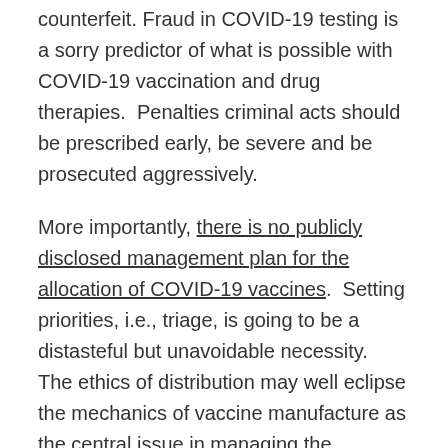counterfeit. Fraud in COVID-19 testing is a sorry predictor of what is possible with COVID-19 vaccination and drug therapies. Penalties criminal acts should be prescribed early, be severe and be prosecuted aggressively.
More importantly, there is no publicly disclosed management plan for the allocation of COVID-19 vaccines. Setting priorities, i.e., triage, is going to be a distasteful but unavoidable necessity. The ethics of distribution may well eclipse the mechanics of vaccine manufacture as the central issue in managing the pandemic. Setting priorities both nationally and globally seems certain to be a contentious process. Pricing and ability to pay are also compelling unavoidable issues. These are issues of conscience, ethics, policy, and politics.